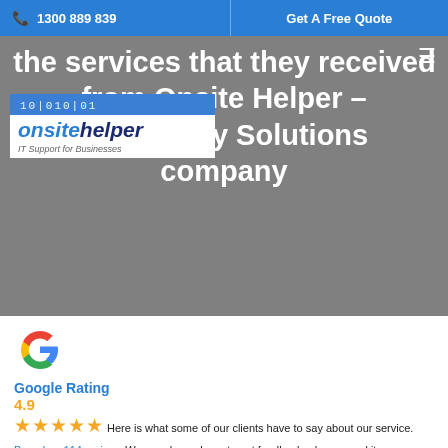1300 889 839 | Get A Free Quote
[Figure (logo): Onsite Helper logo with binary code pattern, blue background, 'onsite' in blue italic bold and 'helper' in dark blue italic bold, tagline 'IT Support for Businesses']
the services that they received from Onsite Helper – IT Security Solutions company
Google Rating
4.9
★★★★★ Here is what some of our clients have to say about our service.
Based on 114 reviews We are always keen to get feedback, please send it to feedback@onsitehelper.com.